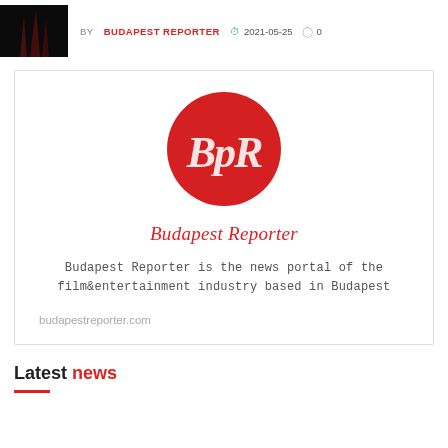[Figure (photo): Dark thumbnail image with reddish tones, appears to show flames or abstract dark subject]
BY BUDAPEST REPORTER  2021-05-25  0
[Figure (logo): Budapest Reporter logo: red circle with white italic BpR text]
Budapest Reporter
Budapest Reporter is the news portal of the film&entertainment industry based in Budapest
budapestreporter.com
Latest news